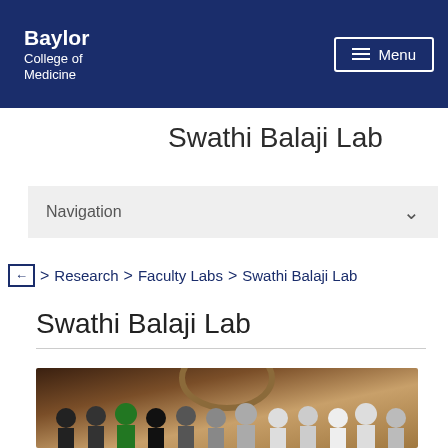Baylor College of Medicine — Menu
Swathi Balaji Lab
Navigation
id ← > Research > Faculty Labs > Swathi Balaji Lab
Swathi Balaji Lab
[Figure (photo): Group photo of Swathi Balaji Lab members posing together indoors, diverse group of researchers smiling at camera]